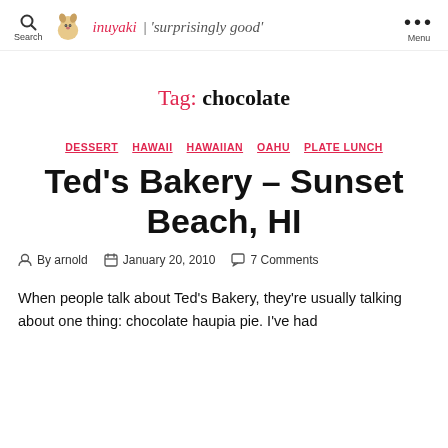Search | inuyaki | 'surprisingly good' | Menu
Tag: chocolate
DESSERT  HAWAII  HAWAIIAN  OAHU  PLATE LUNCH
Ted's Bakery – Sunset Beach, HI
By arnold  January 20, 2010  7 Comments
When people talk about Ted's Bakery, they're usually talking about one thing: chocolate haupia pie. I've had